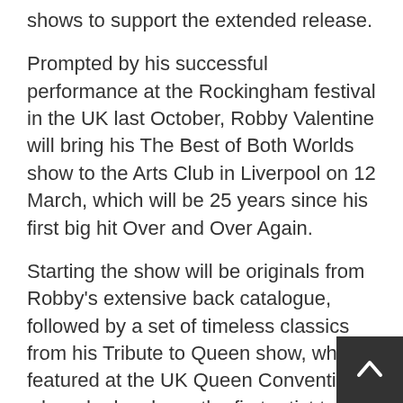shows to support the extended release.
Prompted by his successful performance at the Rockingham festival in the UK last October, Robby Valentine will bring his The Best of Both Worlds show to the Arts Club in Liverpool on 12 March, which will be 25 years since his first big hit Over and Over Again.
Starting the show will be originals from Robby’s extensive back catalogue, followed by a set of timeless classics from his Tribute to Queen show, which featured at the UK Queen Convention where he has been the first artist to be asked back three times.
Tickets for the Liverpool Show can be purchased via this website.
The latest album “Bizzaro World” was released in th… and worldwide on Valentine’s Day, 14th February 2016 with